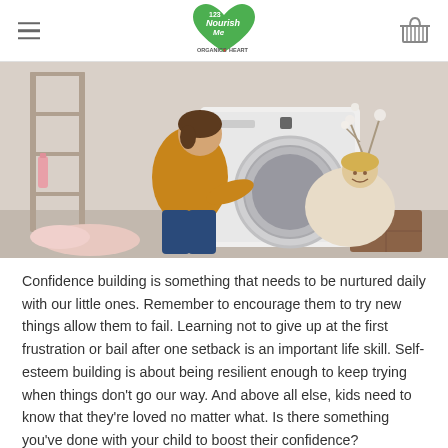123 Nourish Me — Organics with Heart
[Figure (photo): A woman in a mustard yellow sweater crouching next to a washing machine, handing laundry to a young blonde child wrapped in a cream blanket, in a laundry room setting.]
Confidence building is something that needs to be nurtured daily with our little ones. Remember to encourage them to try new things allow them to fail. Learning not to give up at the first frustration or bail after one setback is an important life skill. Self-esteem building is about being resilient enough to keep trying when things don't go our way. And above all else, kids need to know that they're loved no matter what. Is there something you've done with your child to boost their confidence?